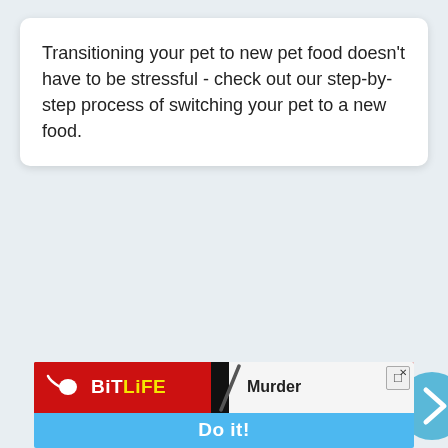Transitioning your pet to new pet food doesn't have to be stressful - check out our step-by-step process of switching your pet to a new food.
[Figure (other): A blue circular arrow/navigation button (chevron right) partially visible at the right edge of the page]
[Figure (screenshot): BitLife mobile game advertisement banner showing a red background with BitLife logo (sperm icon), a knife/slash graphic, the word 'Murder', a 'Do it!' blue button, and a close button.]